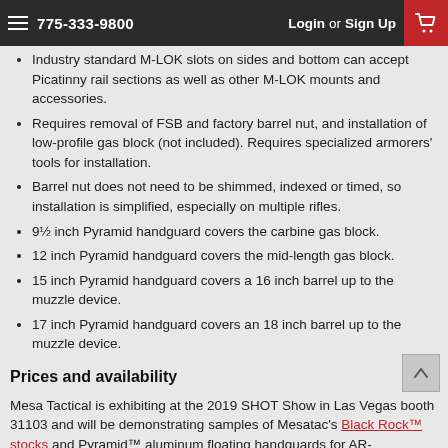775-333-9800   Login or Sign Up
Industry standard M-LOK slots on sides and bottom can accept Picatinny rail sections as well as other M-LOK mounts and accessories.
Requires removal of FSB and factory barrel nut, and installation of low-profile gas block (not included). Requires specialized armorers' tools for installation.
Barrel nut does not need to be shimmed, indexed or timed, so installation is simplified, especially on multiple rifles.
9½ inch Pyramid handguard covers the carbine gas block.
12 inch Pyramid handguard covers the mid-length gas block.
15 inch Pyramid handguard covers a 16 inch barrel up to the muzzle device.
17 inch Pyramid handguard covers an 18 inch barrel up to the muzzle device.
Prices and availability
Mesa Tactical is exhibiting at the 2019 SHOT Show in Las Vegas booth 31103 and will be demonstrating samples of Mesatac's Black Rock™ stocks and Pyramid™ aluminum floating handguards for AR-